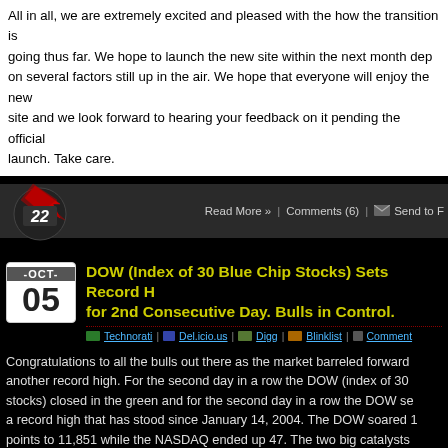All in all, we are extremely excited and pleased with the how the transition is going thus far. We hope to launch the new site within the next month depending on several factors still up in the air. We hope that everyone will enjoy the new site and we look forward to hearing your feedback on it pending the official launch. Take care.
[Figure (logo): Website logo with stylized arrow/boomerang shape in red, with the number 22 on a dark circular background]
Read More » | Comments (6) | Send to F
DOW (Index of 30 Blue Chip Stocks) Sets Record H for 2nd Consecutive Day. Bulls in Control.
Technorati | Del.icio.us | Digg | Blinklist | Comment
Congratulations to all the bulls out there as the market barreled forward to another record high. For the second day in a row the DOW (index of 30 stocks) closed in the green and for the second day in a row the DOW set a record high that has stood since January 14, 2004. The DOW soared 1 points to 11,851 while the NASDAQ ended up 47. The two big catalysts for current market momentum is the ever-shrinking cost of oil (and thus great potential for big business to post satisfactory earnings numbers) and op that the Federal Reserve will lower interest rates in the coming months/y This all in spite of many feeling that the economy is cooling down.
On the flip side, today's investors are smarter. Let me re-phrase that, to